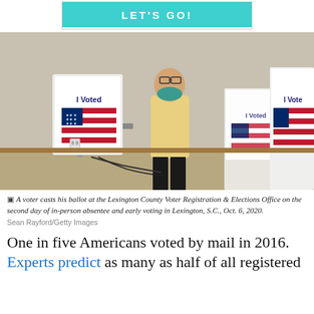[Figure (other): Advertisement banner with teal background and text LET'S GO! in white bold letters]
[Figure (photo): A voter casts his ballot at a voting booth with 'I Voted' signs bearing American flags. The voter is wearing a yellow shirt and teal face mask. Multiple voting booths are visible in the background.]
A voter casts his ballot at the Lexington County Voter Registration & Elections Office on the second day of in-person absentee and early voting in Lexington, S.C., Oct. 6, 2020. Sean Rayford/Getty Images
One in five Americans voted by mail in 2016. Experts predict as many as half of all registered